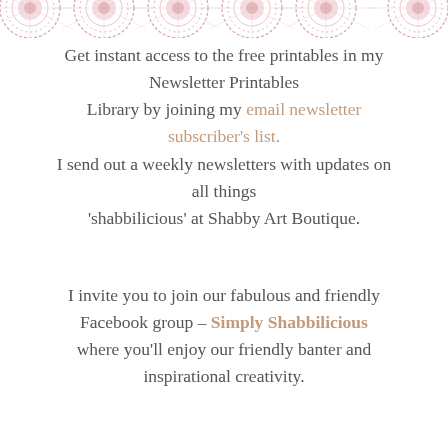[Figure (illustration): Row of decorative circular doily/mandala patterns in muted pink/rose color at the top of the page]
Get instant access to the free printables in my Newsletter Printables Library by joining my email newsletter subscriber's list. I send out a weekly newsletters with updates on all things 'shabbilicious' at Shabby Art Boutique.
I invite you to join our fabulous and friendly Facebook group – Simply Shabbilicious where you'll enjoy our friendly banter and inspirational creativity.